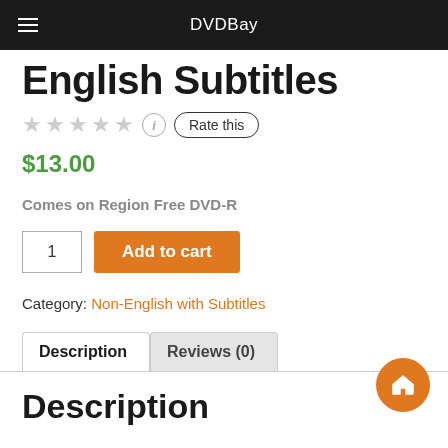DVDBay
English Subtitles
★★★★★ (i) Rate this
$13.00
Comes on Region Free DVD-R
1  Add to cart
Category: Non-English with Subtitles
Description  Reviews (0)
Description